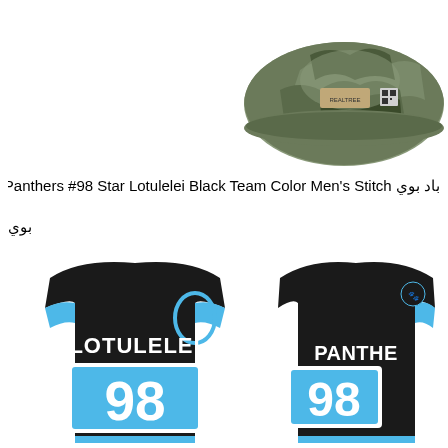[Figure (photo): Camouflage pattern baseball cap/hat with Realtree branding, shown from above at an angle]
باد بوي Nike Panthers #98 Star Lotulelei Black Team Color Men's Stitch
بوي
[Figure (photo): Carolina Panthers #98 Lotulelei black NFL jersey front view showing name LOTULELEI and number 98 with blue trim]
[Figure (photo): Carolina Panthers #98 jersey back/side view showing PANTHERS text and number 98 with Panthers logo]